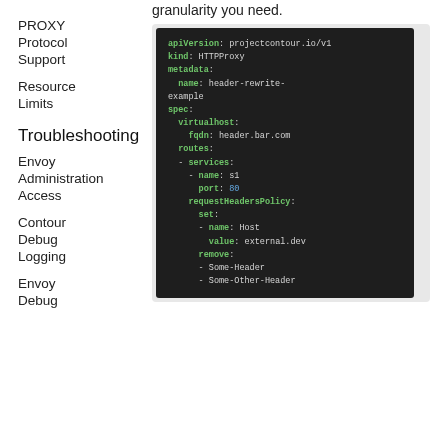granularity you need.
PROXY
Protocol Support
Resource Limits
Troubleshooting
Envoy Administration Access
Contour Debug Logging
Envoy Debug
[Figure (screenshot): Code block showing a Kubernetes HTTPProxy YAML configuration with apiVersion: projectcontour.io/v1, kind: HTTPProxy, metadata name: header-rewrite-example, spec with virtualhost fqdn: header.bar.com, routes with services name: s1 port: 80, requestHeadersPolicy set name: Host value: external.dev, remove: Some-Header, Some-Other-Header]